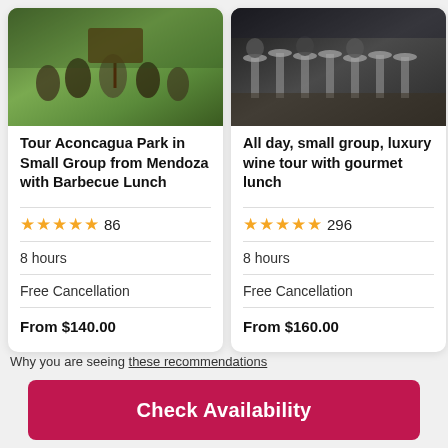[Figure (photo): Group of tourists posing at Aconcagua Park sign]
Tour Aconcagua Park in Small Group from Mendoza with Barbecue Lunch
★★★★★ 86
8 hours
Free Cancellation
From $140.00
[Figure (photo): People sitting at bar stools at a winery or restaurant]
All day, small group, luxury wine tour with gourmet lunch
★★★★★ 296
8 hours
Free Cancellation
From $160.00
[Figure (photo): Partial third card showing landscape]
High... Acon...
★★ ...
6 ho...
Free ...
From ...
Why you are seeing these recommendations
Check Availability